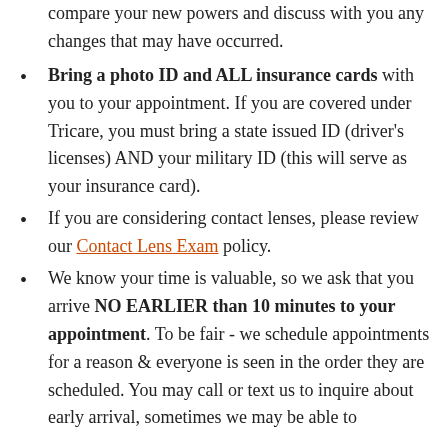compare your new powers and discuss with you any changes that may have occurred.
Bring a photo ID and ALL insurance cards with you to your appointment. If you are covered under Tricare, you must bring a state issued ID (driver's licenses) AND your military ID (this will serve as your insurance card).
If you are considering contact lenses, please review our Contact Lens Exam policy.
We know your time is valuable, so we ask that you arrive NO EARLIER than 10 minutes to your appointment. To be fair - we schedule appointments for a reason & everyone is seen in the order they are scheduled. You may call or text us to inquire about early arrival, sometimes we may be able to